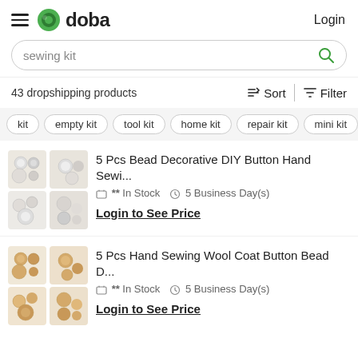doba — Login
sewing kit
43 dropshipping products  Sort  Filter
kit
empty kit
tool kit
home kit
repair kit
mini kit
stee...
[Figure (photo): 5 Pcs Bead Decorative DIY Button Hand Sewing product — four images of white/silver beaded buttons]
5 Pcs Bead Decorative DIY Button Hand Sewi...
** In Stock  5 Business Day(s)
Login to See Price
[Figure (photo): 5 Pcs Hand Sewing Wool Coat Button Bead product — four images of gold/tan beaded buttons]
5 Pcs Hand Sewing Wool Coat Button Bead D...
** In Stock  5 Business Day(s)
Login to See Price